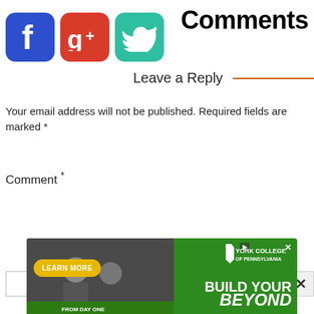Comments
[Figure (illustration): Three social media icons: Facebook (blue, letter f), Google+ (red, g+), Twitter (teal, bird)]
Leave a Reply
Your email address will not be published. Required fields are marked *
Comment *
Name *
[Figure (other): Advertisement banner for York College of Pennsylvania: LEARN MORE button, York College logo, BUILD YOUR BEYOND text, photo of people]